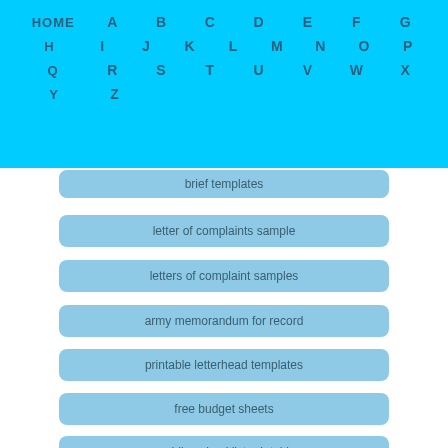HOME A B C D E F G H I J K L M N O P Q R S T U V W X Y Z
brief templates
letter of complaints sample
letters of complaint samples
army memorandum for record
printable letterhead templates
free budget sheets
wedding checklist printable